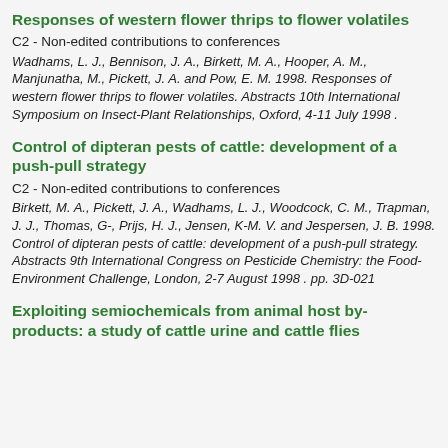Responses of western flower thrips to flower volatiles
C2 - Non-edited contributions to conferences
Wadhams, L. J., Bennison, J. A., Birkett, M. A., Hooper, A. M., Manjunatha, M., Pickett, J. A. and Pow, E. M. 1998. Responses of western flower thrips to flower volatiles. Abstracts 10th International Symposium on Insect-Plant Relationships, Oxford, 4-11 July 1998 .
Control of dipteran pests of cattle: development of a push-pull strategy
C2 - Non-edited contributions to conferences
Birkett, M. A., Pickett, J. A., Wadhams, L. J., Woodcock, C. M., Trapman, J. J., Thomas, G-, Prijs, H. J., Jensen, K-M. V. and Jespersen, J. B. 1998. Control of dipteran pests of cattle: development of a push-pull strategy. Abstracts 9th International Congress on Pesticide Chemistry: the Food-Environment Challenge, London, 2-7 August 1998 . pp. 3D-021
Exploiting semiochemicals from animal host by-products: a study of cattle urine and cattle flies